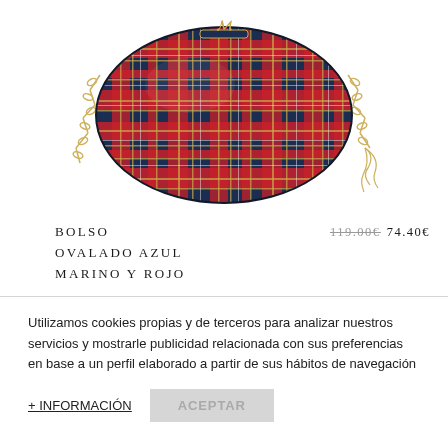[Figure (photo): A red and navy blue tartan plaid oval crossbody bag with a gold chain strap and a gold logo clasp on top, displayed on a white background.]
BOLSO OVALADO AZUL MARINO Y ROJO
119.00€  74.40€
Utilizamos cookies propias y de terceros para analizar nuestros servicios y mostrarle publicidad relacionada con sus preferencias en base a un perfil elaborado a partir de sus hábitos de navegación
+ INFORMACIÓN
ACEPTAR